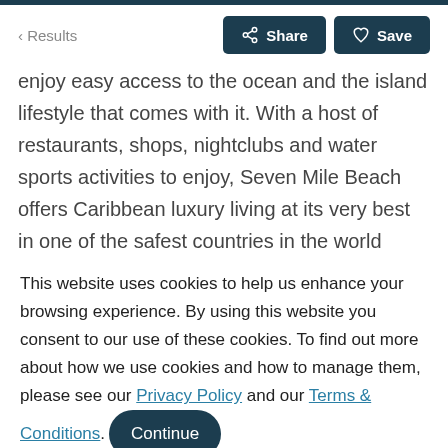< Results  Share  Save
enjoy easy access to the ocean and the island lifestyle that comes with it. With a host of restaurants, shops, nightclubs and water sports activities to enjoy, Seven Mile Beach offers Caribbean luxury living at its very best in one of the safest countries in the world (dependant on your Jet
This website uses cookies to help us enhance your browsing experience. By using this website you consent to our use of these cookies. To find out more about how we use cookies and how to manage them, please see our Privacy Policy and our Terms & Conditions. Continue